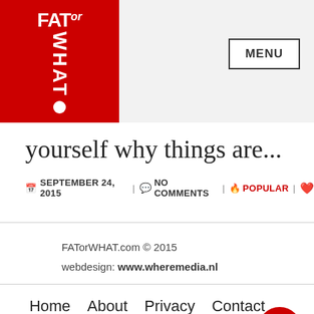[Figure (logo): FATorWHAT logo: red background with white text showing FAT, OR, WHAT and a white dot]
MENU
yourself why things are...
SEPTEMBER 24, 2015 | NO COMMENTS | POPULAR |
FATorWHAT.com © 2015
webdesign: www.wheremedia.nl
Home
About
Privacy
Contact
Newsletter